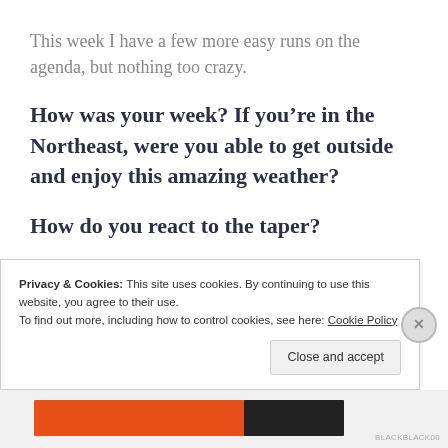This week I have a few more easy runs on the agenda, but nothing too crazy.
How was your week? If you’re in the Northeast, were you able to get outside and enjoy this amazing weather?
How do you react to the taper?
Privacy & Cookies: This site uses cookies. By continuing to use this website, you agree to their use. To find out more, including how to control cookies, see here: Cookie Policy
Close and accept